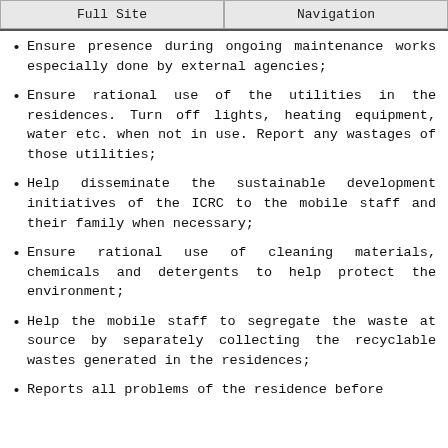Full Site | Navigation
Ensure presence during ongoing maintenance works especially done by external agencies;
Ensure rational use of the utilities in the residences. Turn off lights, heating equipment, water etc. when not in use. Report any wastages of those utilities;
Help disseminate the sustainable development initiatives of the ICRC to the mobile staff and their family when necessary;
Ensure rational use of cleaning materials, chemicals and detergents to help protect the environment;
Help the mobile staff to segregate the waste at source by separately collecting the recyclable wastes generated in the residences;
Reports all problems of the residence before